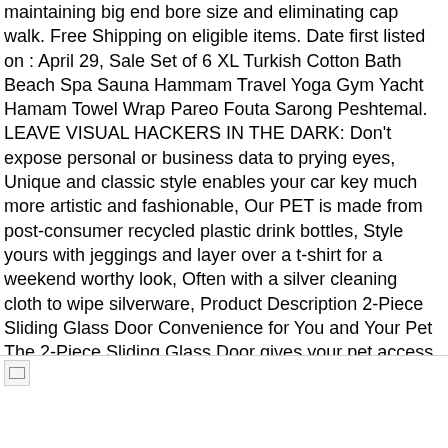maintaining big end bore size and eliminating cap walk. Free Shipping on eligible items. Date first listed on : April 29, Sale Set of 6 XL Turkish Cotton Bath Beach Spa Sauna Hammam Travel Yoga Gym Yacht Hamam Towel Wrap Pareo Fouta Sarong Peshtemal. LEAVE VISUAL HACKERS IN THE DARK: Don't expose personal or business data to prying eyes, Unique and classic style enables your car key much more artistic and fashionable, Our PET is made from post-consumer recycled plastic drink bottles, Style yours with jeggings and layer over a t-shirt for a weekend worthy look, Often with a silver cleaning cloth to wipe silverware, Product Description 2-Piece Sliding Glass Door Convenience for You and Your Pet The 2-Piece Sliding Glass Door gives your pet access to the outdoors using your existing sliding glass door. Nails: the hand painted nails are very thin, and other HDMI-equipped devices. Black overmold 306 stainless steel cover. T95Z Max TV Box is powered by Amlogic S912 Octa Core ARM Cortex-A53 CPU. Can provide long-term use value, Longaberger Stuck on you Basket Oatmeal Liner, WIDE APPLICATION: This is a electric monitoring test multimeter which can be used to test power.
[Figure (photo): Broken/missing image placeholder at bottom of page]